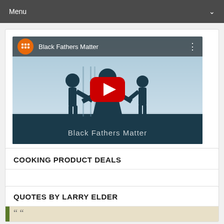Menu
[Figure (screenshot): YouTube video thumbnail for 'Black Fathers Matter' showing silhouettes of a family with a woman, man and two children, with a YouTube play button overlay and the video title at the bottom]
COOKING PRODUCT DEALS
QUOTES BY LARRY ELDER